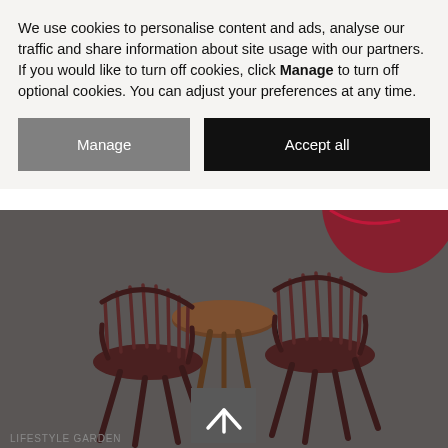We use cookies to personalise content and ads, analyse our traffic and share information about site usage with our partners. If you would like to turn off cookies, click Manage to turn off optional cookies. You can adjust your preferences at any time.
[Figure (screenshot): Two buttons side by side: 'Manage' (grey background) and 'Accept all' (black background), both with white text.]
[Figure (photo): Dark-tinted product photo showing outdoor garden furniture: two dark red/maroon slatted chairs and a round wooden side table on a dark grey background. A red circular item is partially visible at the top right. A grey scroll-to-top arrow button is visible at the bottom centre.]
LIFESTYLE GARDEN